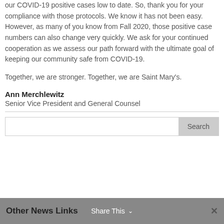our COVID-19 positive cases low to date. So, thank you for your compliance with those protocols. We know it has not been easy. However, as many of you know from Fall 2020, those positive case numbers can also change very quickly. We ask for your continued cooperation as we assess our path forward with the ultimate goal of keeping our community safe from COVID-19.
Together, we are stronger. Together, we are Saint Mary's.
Ann Merchlewitz
Senior Vice President and General Counsel
Other News Links